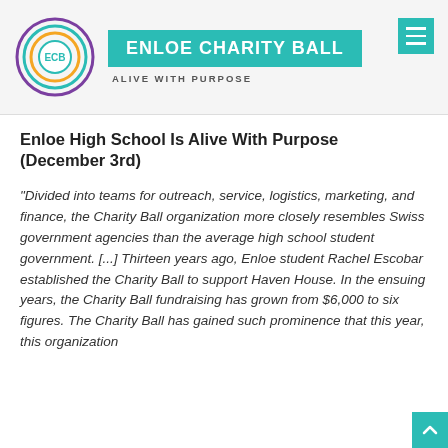[Figure (logo): Enloe Charity Ball logo: circular logo with ECB text inside concentric circles (teal, orange, purple), beside teal banner reading ENLOE CHARITY BALL and tagline ALIVE WITH PURPOSE, with teal hamburger menu icon]
Enloe High School Is Alive With Purpose (December 3rd)
“Divided into teams for outreach, service, logistics, marketing, and finance, the Charity Ball organization more closely resembles Swiss government agencies than the average high school student government. [...] Thirteen years ago, Enloe student Rachel Escobar established the Charity Ball to support Haven House. In the ensuing years, the Charity Ball fundraising has grown from $6,000 to six figures. The Charity Ball has gained such prominence that this year...this organization...